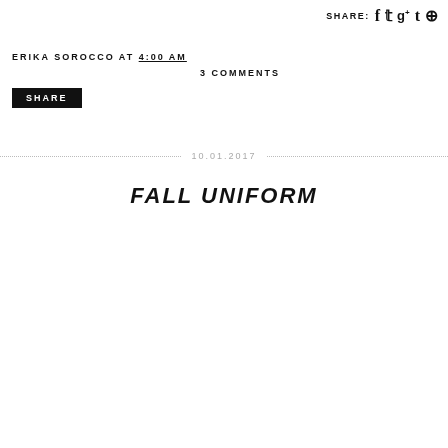SHARE: f t g+ t p
ERIKA SOROCCO AT 4:00 AM
3 COMMENTS
SHARE
10.01.2017
FALL UNIFORM